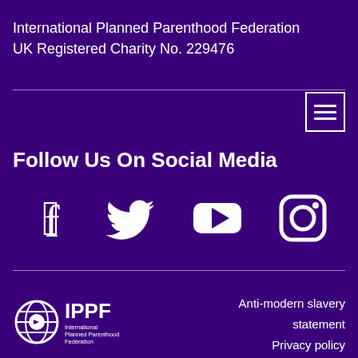International Planned Parenthood Federation
UK Registered Charity No. 229476
[Figure (other): Hamburger menu button with three horizontal lines]
Follow Us On Social Media
[Figure (other): Social media icons: Facebook (f), Twitter (bird), YouTube (play button), Instagram (camera)]
[Figure (logo): IPPF logo with globe icon and text: International Planned Parenthood Federation]
Anti-modern slavery statement
Privacy policy
IPPF Safe Report